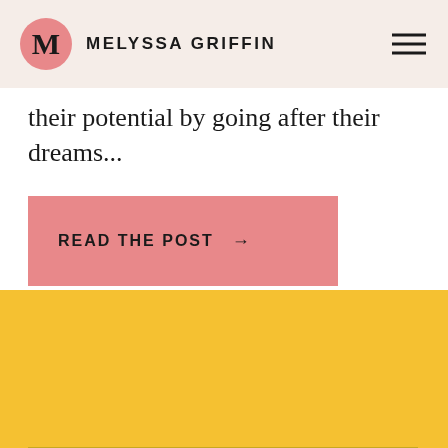M MELYSSA GRIFFIN
their potential by going after their dreams...
READ THE POST →
5 Steps to Build Your Email List, Engage Your Subscribers, and Make Sales With Email Marketing